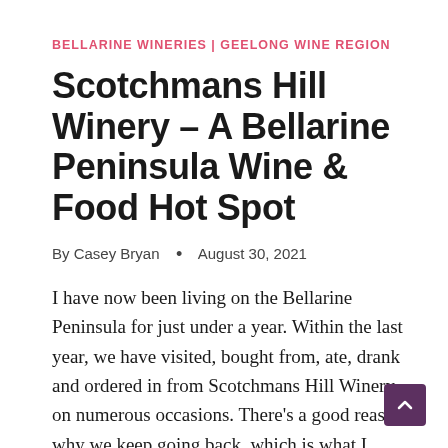BELLARINE WINERIES | GEELONG WINE REGION
Scotchmans Hill Winery – A Bellarine Peninsula Wine & Food Hot Spot
By Casey Bryan • August 30, 2021
I have now been living on the Bellarine Peninsula for just under a year. Within the last year, we have visited, bought from, ate, drank and ordered in from Scotchmans Hill Winery on numerous occasions. There's a good reason why we keep going back, which is what I want to share with you all today.